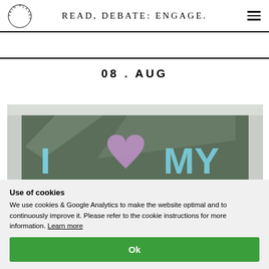READ, DEBATE: ENGAGE.
08 . AUG
[Figure (photo): Car rear window with 'I [heart] MY' written in chalk/marker with a pink heart shape, viewed from outside]
Use of cookies
We use cookies & Google Analytics to make the website optimal and to continuously improve it. Please refer to the cookie instructions for more information. Learn more
Ok